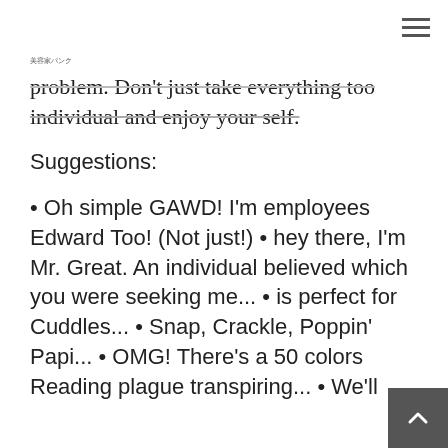美容家パンク
problem. Don't just take everything too individual and enjoy your self.
Suggestions:
• Oh simple GAWD! I'm employees Edward Too! (Not just!) • hey there, I'm Mr. Great. An individual believed which you were seeking me... • is perfect for Cuddles... • Snap, Crackle, Poppin' Papi... • OMG! There's a 50 colors Reading plague transpiring... • We'll